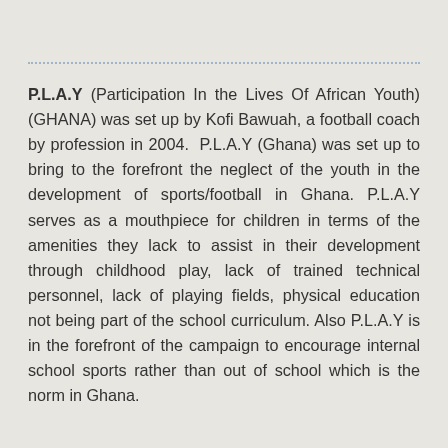P.L.A.Y (Participation In the Lives Of African Youth) (GHANA) was set up by Kofi Bawuah, a football coach by profession in 2004. P.L.A.Y (Ghana) was set up to bring to the forefront the neglect of the youth in the development of sports/football in Ghana. P.L.A.Y serves as a mouthpiece for children in terms of the amenities they lack to assist in their development through childhood play, lack of trained technical personnel, lack of playing fields, physical education not being part of the school curriculum. Also P.L.A.Y is in the forefront of the campaign to encourage internal school sports rather than out of school which is the norm in Ghana.